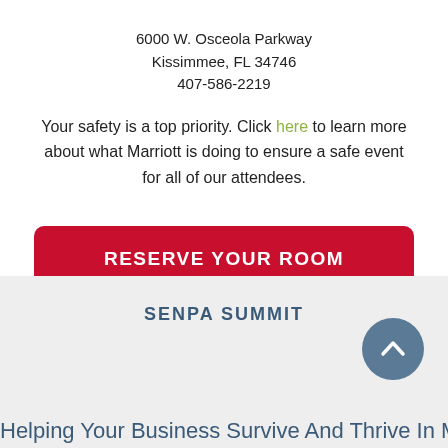6000 W. Osceola Parkway
Kissimmee, FL 34746
407-586-2219
Your safety is a top priority. Click here to learn more about what Marriott is doing to ensure a safe event for all of our attendees.
[Figure (other): Red button with white bold uppercase text reading RESERVE YOUR ROOM]
SENPA SUMMIT
[Figure (other): Circular navy/steel blue button with upward chevron arrow icon]
Helping Your Business Survive And Thrive In Modern